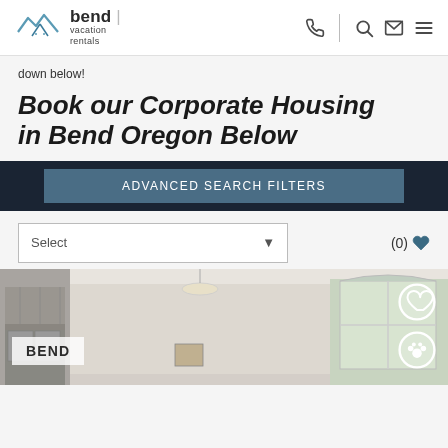bend | vacation rentals
down below!
Book our Corporate Housing in Bend Oregon Below
ADVANCED SEARCH FILTERS
Select  (0) ♥
[Figure (photo): Interior photo of a vacation rental property with a kitchen and windows, labeled BEND with a heart and paw icon overlay]